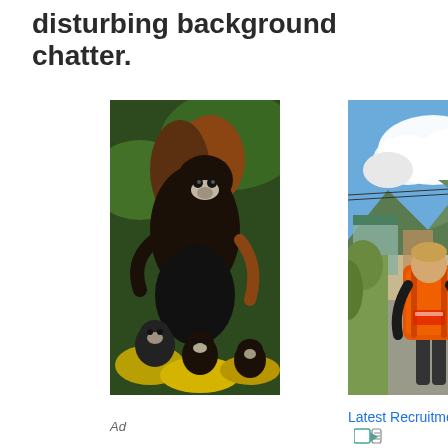disturbing background chatter.
[Figure (photo): A black and brown monkey (tamarin) clinging to a surface, with smaller tamarins below, surrounded by tropical foliage and yellow fruit]
[Figure (photo): A person wearing a black shirt and orange backpack (Oxfam/relief organization) walking on a road with mountains and clouds in the background]
Latest Recruitment Trends
Ad